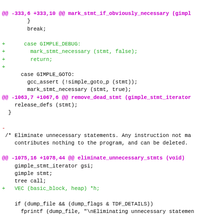Code diff showing changes to mark_stmt_if_obviously_necessary, remove_dead_stmt, and eliminate_unnecessary_stmts functions in a C source file.